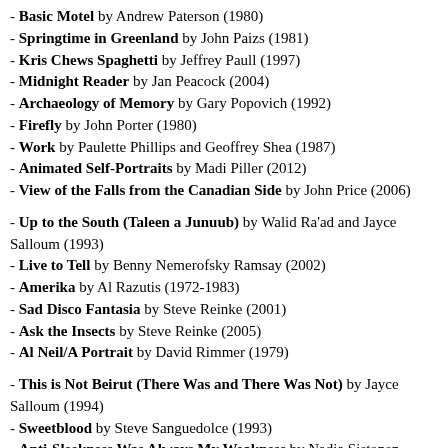- Basic Motel by Andrew Paterson (1980)
- Springtime in Greenland by John Paizs (1981)
- Kris Chews Spaghetti by Jeffrey Paull (1997)
- Midnight Reader by Jan Peacock (2004)
- Archaeology of Memory by Gary Popovich (1992)
- Firefly by John Porter (1980)
- Work by Paulette Phillips and Geoffrey Shea (1987)
- Animated Self-Portraits by Madi Piller (2012)
- View of the Falls from the Canadian Side by John Price (2006)
- Up to the South (Taleen a Junuub) by Walid Ra'ad and Jayce Salloum (1993)
- Live to Tell by Benny Nemerofsky Ramsay (2002)
- Amerika by Al Razutis (1972-1983)
- Sad Disco Fantasia by Steve Reinke (2001)
- Ask the Insects by Steve Reinke (2005)
- Al Neil/A Portrait by David Rimmer (1979)
- This is Not Beirut (There Was and There Was Not) by Jayce Salloum (1994)
- Sweetblood by Steve Sanguedolce (1993)
- Anti-Sleekness Was Always My Weakness by Nadia Sistonen